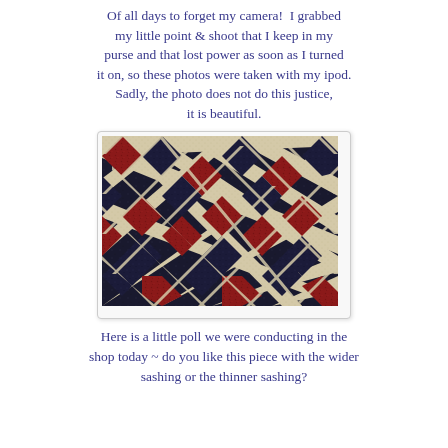Of all days to forget my camera! I grabbed my little point & shoot that I keep in my purse and that lost power as soon as I turned it on, so these photos were taken with my ipod. Sadly, the photo does not do this justice, it is beautiful.
[Figure (photo): Close-up photograph of a quilt with a diamond/lattice pattern in red, dark navy/black, and white/cream floral fabrics with sashing.]
Here is a little poll we were conducting in the shop today ~ do you like this piece with the wider sashing or the thinner sashing?